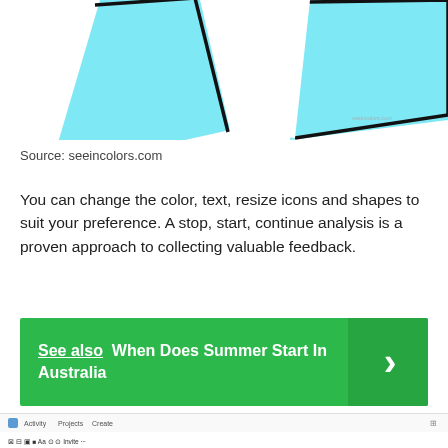[Figure (illustration): Partial illustration showing cyan/turquoise geometric triangle-like shapes with black outlines on white background, cropped at top. Small watermark 'seeincolors.com' visible in upper right area.]
Source: seeincolors.com
You can change the color, text, resize icons and shapes to suit your preference. A stop, start, continue analysis is a proven approach to collecting valuable feedback.
See also  When Does Summer Start In Australia
[Figure (screenshot): Screenshot of a web application interface showing 'Stop, Start, Continue Template' with a 'Use Template' button, navigation bar with Activity, Projects, Create links, and small descriptive text below the template title.]